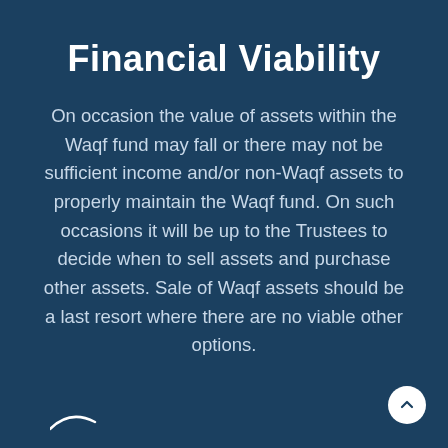Financial Viability
On occasion the value of assets within the Waqf fund may fall or there may not be sufficient income and/or non-Waqf assets to properly maintain the Waqf fund. On such occasions it will be up to the Trustees to decide when to sell assets and purchase other assets. Sale of Waqf assets should be a last resort where there are no viable other options.